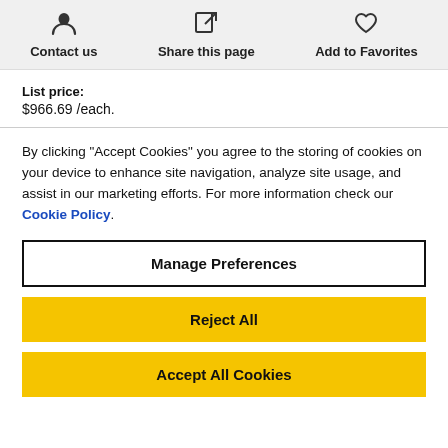Contact us | Share this page | Add to Favorites
List price:
$966.69 /each.
By clicking "Accept Cookies" you agree to the storing of cookies on your device to enhance site navigation, analyze site usage, and assist in our marketing efforts. For more information check our Cookie Policy.
Manage Preferences
Reject All
Accept All Cookies